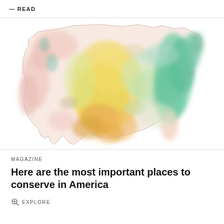READ
[Figure (map): Colorful watercolor-style map of the contiguous United States showing conservation priority areas marked with yellow, green, teal, pink, and orange regions representing different ecological zones or biodiversity importance levels.]
MAGAZINE
Here are the most important places to conserve in America
EXPLORE